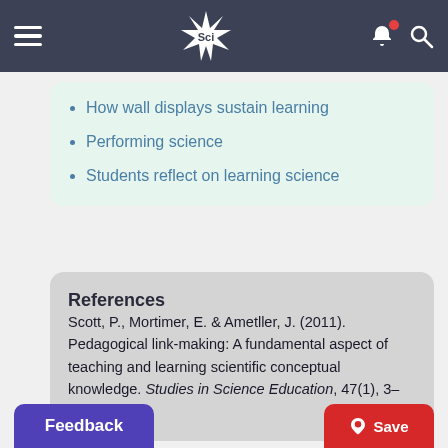Sci [navigation bar with hamburger, logo, bell, search icons]
How wall displays sustain learning
Performing science
Students reflect on learning science
References
Scott, P., Mortimer, E. & Ametller, J. (2011). Pedagogical link-making: A fundamental aspect of teaching and learning scientific conceptual knowledge. Studies in Science Education, 47(1), 3–36.
Feedback
Save